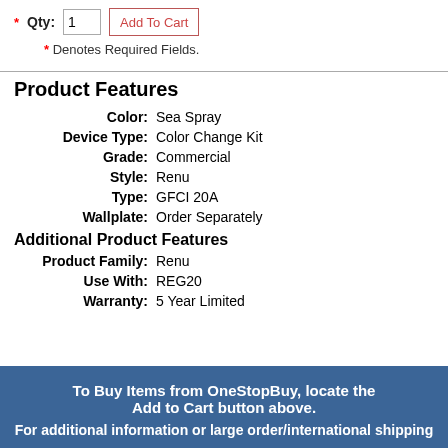* Qty: 1  Add To Cart
* Denotes Required Fields.
Product Features
| Feature | Value |
| --- | --- |
| Color: | Sea Spray |
| Device Type: | Color Change Kit |
| Grade: | Commercial |
| Style: | Renu |
| Type: | GFCI 20A |
| Wallplate: | Order Separately |
Additional Product Features
| Feature | Value |
| --- | --- |
| Product Family: | Renu |
| Use With: | REG20 |
| Warranty: | 5 Year Limited |
To Buy Items from OneStopBuy, locate the Add to Cart button above.
For additional information or large order/international shipping